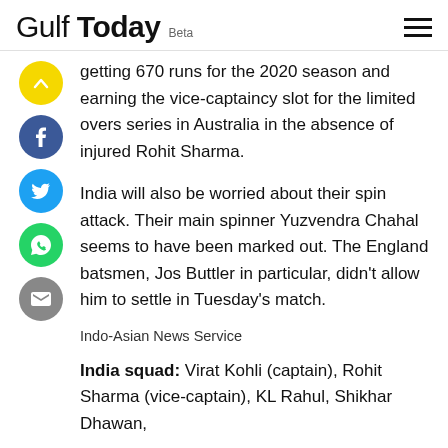Gulf Today Beta
getting 670 runs for the 2020 season and earning the vice-captaincy slot for the limited overs series in Australia in the absence of injured Rohit Sharma.
India will also be worried about their spin attack. Their main spinner Yuzvendra Chahal seems to have been marked out. The England batsmen, Jos Buttler in particular, didn't allow him to settle in Tuesday's match.
Indo-Asian News Service
India squad: Virat Kohli (captain), Rohit Sharma (vice-captain), KL Rahul, Shikhar Dhawan,